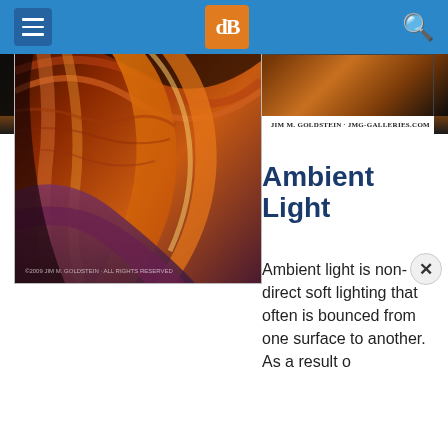[Figure (screenshot): dPS website navigation bar with hamburger menu on left, orange dPS logo in center, and search icon on right, on blue background]
[Figure (photo): Panoramic landscape photo banner with text: THE GOLDEN STATE / JIM M. GOLDSTEIN · JMG-GALLERIES.COM]
[Figure (photo): Close-up photograph of colorful sandstone canyon walls with swirling red, orange, and purple rock formations, copyright Jim M. Goldstein]
Ambient Light
Ambient light is non-direct soft lighting that often is bounced from one surface to another. As a result o